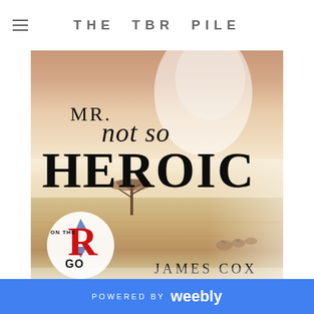THE TBR PILE
[Figure (illustration): Book cover for 'Mr. Not So Heroic' by James Cox. Shows a torso/skin background at top, savanna landscape with acacia tree and zebras at bottom, title text overlay in serif font, and a circular publisher badge (R on the Go) in bottom left corner.]
POWERED BY weebly